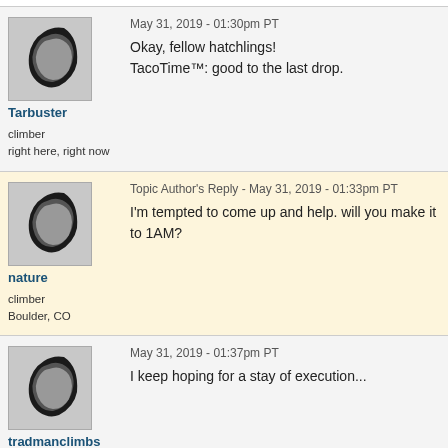Tarbuster
May 31, 2019 - 01:30pm PT
Okay, fellow hatchlings!
TacoTime™: good to the last drop.
climber
right here, right now
nature
Topic Author's Reply - May 31, 2019 - 01:33pm PT
I'm tempted to come up and help. will you make it to 1AM?
climber
Boulder, CO
tradmanclimbs
May 31, 2019 - 01:37pm PT
I keep hoping for a stay of execution...
Ice climber
Pomfert VT
Messages 1 - 20 of total 103 in this topic  << First | < Previous | Show All | Next >